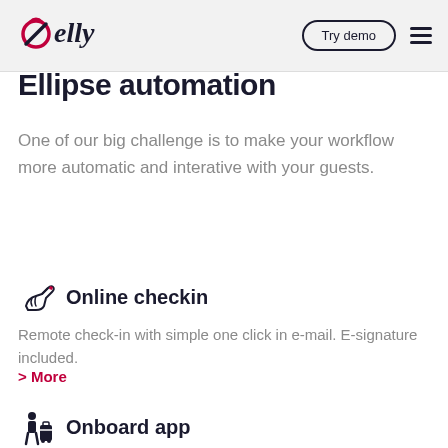elly — Try demo (navigation bar with hamburger menu)
Ellipse automation
One of our big challenge is to make your workflow more automatic and interative with your guests.
Online checkin
Remote check-in with simple one click in e-mail. E-signature included.
> More
Onboard app